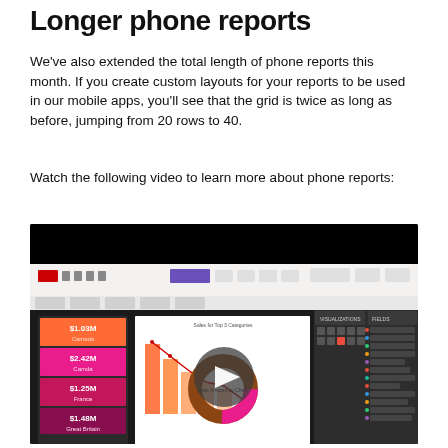Longer phone reports
We've also extended the total length of phone reports this month. If you create custom layouts for your reports to be used in our mobile apps, you'll see that the grid is twice as long as before, jumping from 20 rows to 40.
Watch the following video to learn more about phone reports:
[Figure (screenshot): Video thumbnail showing a Power BI phone report with a play button overlay. The screenshot shows a Power BI desktop interface with a donut chart, bar chart, and card visuals displaying sales data including values like $1.03M, $2.42M, $1.25M, and $1.48M for different countries.]